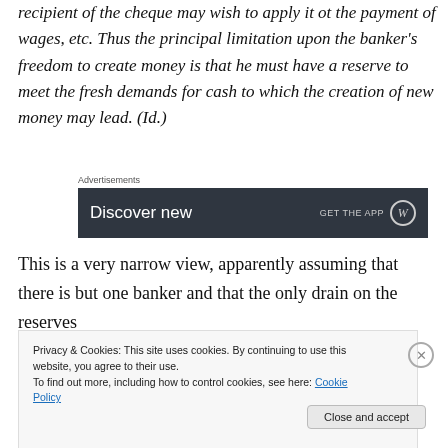recipient of the cheque may wish to apply it ot the payment of wages, etc. Thus the principal limitation upon the banker's freedom to create money is that he must have a reserve to meet the fresh demands for cash to which the creation of new money may lead. (Id.)
[Figure (other): Advertisement banner with 'Discover new' text and 'GET THE APP' call to action with Wordpress-style icon on dark background]
This is a very narrow view, apparently assuming that there is but one banker and that the only drain on the reserves
Privacy & Cookies: This site uses cookies. By continuing to use this website, you agree to their use. To find out more, including how to control cookies, see here: Cookie Policy